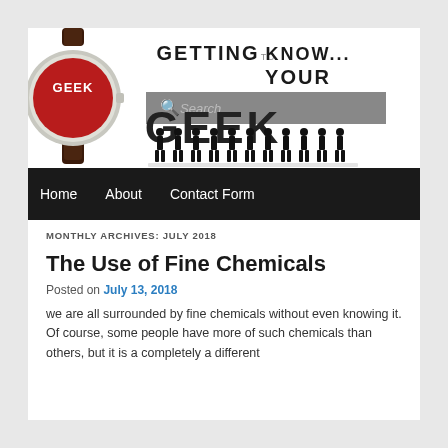[Figure (logo): Blog header image showing a watch with GEEK on the face on the left, and 'GETTING TO KNOW YOUR GEEK' text with silhouettes of people on the right. A search bar overlays the header.]
Home   About   Contact Form
MONTHLY ARCHIVES: JULY 2018
The Use of Fine Chemicals
Posted on July 13, 2018
we are all surrounded by fine chemicals without even knowing it. Of course, some people have more of such chemicals than others, but it is a completely a different